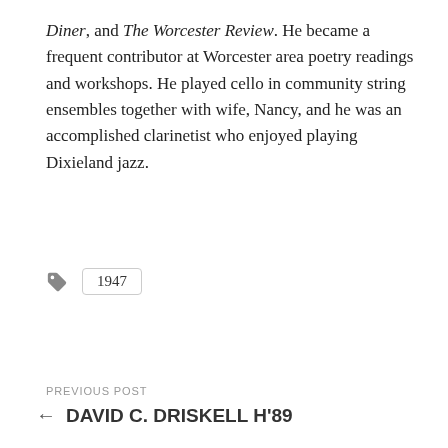Diner, and The Worcester Review. He became a frequent contributor at Worcester area poetry readings and workshops. He played cello in community string ensembles together with wife, Nancy, and he was an accomplished clarinetist who enjoyed playing Dixieland jazz.
1947
PREVIOUS POST
← DAVID C. DRISKELL H'89